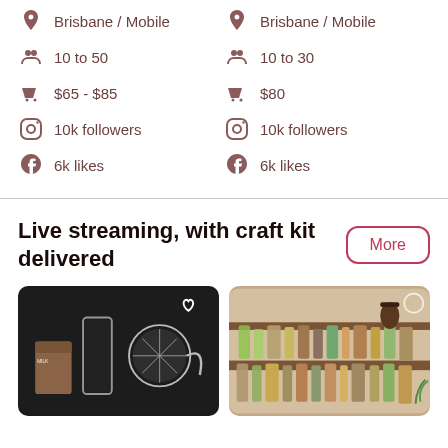Brisbane / Mobile
10 to 50
$65 - $85
10k followers
6k likes
Brisbane / Mobile
10 to 30
$80
10k followers
6k likes
Live streaming, with craft kit delivered
[Figure (photo): Cocktail making kit with craft items on dark wooden background, heart icon overlay]
[Figure (photo): Bar shelf with bottles of spirits and tiki decorations]